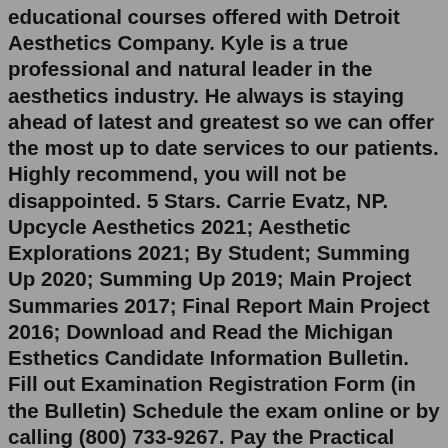educational courses offered with Detroit Aesthetics Company. Kyle is a true professional and natural leader in the aesthetics industry. He always is staying ahead of latest and greatest so we can offer the most up to date services to our patients. Highly recommend, you will not be disappointed. 5 Stars. Carrie Evatz, NP. Upcycle Aesthetics 2021; Aesthetic Explorations 2021; By Student; Summing Up 2020; Summing Up 2019; Main Project Summaries 2017; Final Report Main Project 2016; Download and Read the Michigan Esthetics Candidate Information Bulletin. Fill out Examination Registration Form (in the Bulletin) Schedule the exam online or by calling (800) 733-9267. Pay the Practical Exam fee of $91. Pay the Theory Exam fee of $91. You can fax your exam registration form to the following number: Facebook page opens in new window Instagram page opens in new window Aesthetic Education, promotes Botox Courses that are at the leading edge of training in aesthetics procedures with the best qualification for doctors, nurses and dentists, courses that are superior